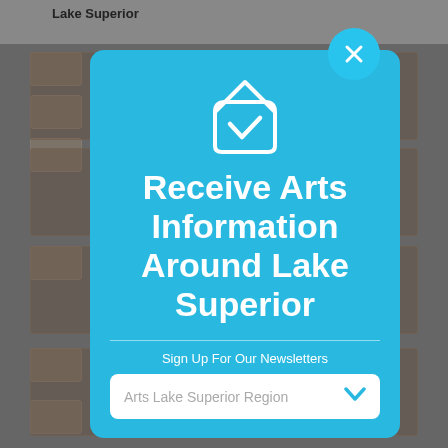[Figure (screenshot): Dimmed background showing Lake Superior News website]
Receive Arts Information Around Lake Superior
Sign Up For Our Newsletters
Arts Lake Superior Region